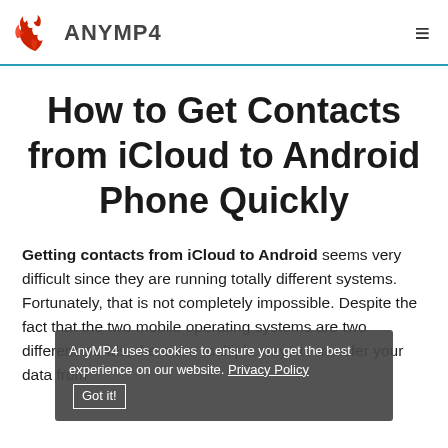ANYMP4
How to Get Contacts from iCloud to Android Phone Quickly
Getting contacts from iCloud to Android seems very difficult since they are running totally different systems. Fortunately, that is not completely impossible. Despite the fact that the two mobile operating systems are two different worlds, there are multiple ways to transfer your data from